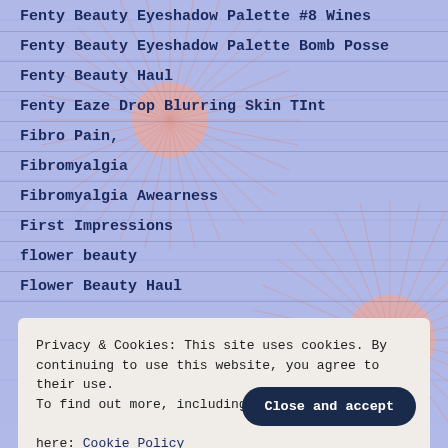Fenty Beauty Eyeshadow Palette #8 Wines
Fenty Beauty Eyeshadow Palette Bomb Posse
Fenty Beauty Haul
Fenty Eaze Drop Blurring Skin TInt
Fibro Pain,
Fibromyalgia
Fibromyalgia Awearness
First Impressions
flower beauty
Flower Beauty Haul
Privacy & Cookies: This site uses cookies. By continuing to use this website, you agree to their use. To find out more, including how to control cookies, see here: Cookie Policy
Glam Eye with Vamp Lip